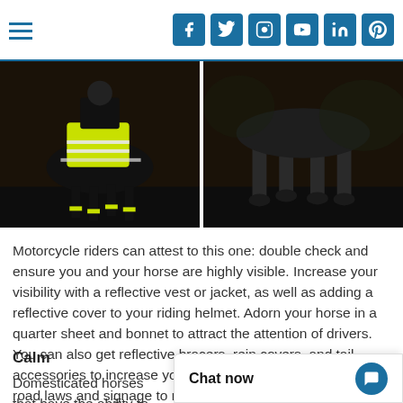Navigation and social media icons header
[Figure (photo): Two side-by-side nighttime photos of a horse and rider wearing high-visibility reflective gear on the left, and a dark horse's legs/hooves on the right]
Motorcycle riders can attest to this one: double check and ensure you and your horse are highly visible. Increase your visibility with a reflective vest or jacket, as well as adding a reflective cover to your riding helmet. Adorn your horse in a quarter sheet and bonnet to attract the attention of drivers. You can also get reflective bracers, rein covers, and tail accessories to increase your visibility. Remember to obey all road laws and signage to reduce the chances of being missed.
Calm
Domesticated horses that have the ability to